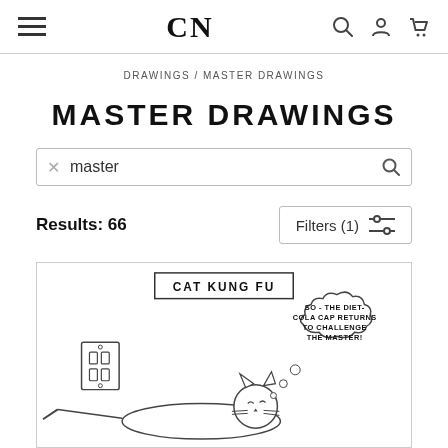CN (logo navigation bar with hamburger menu, search, account, and cart icons)
DRAWINGS / MASTER DRAWINGS
MASTER DRAWINGS
master (search input)
Results: 66
Filters (1)
[Figure (illustration): Cartoon drawing titled 'CAT KUNG FU' showing a cat lying near a wall outlet with a thought bubble reading 'SO - THE DIET-COLA CAP RETURNS TO CHALLENGE THE MASTER!']